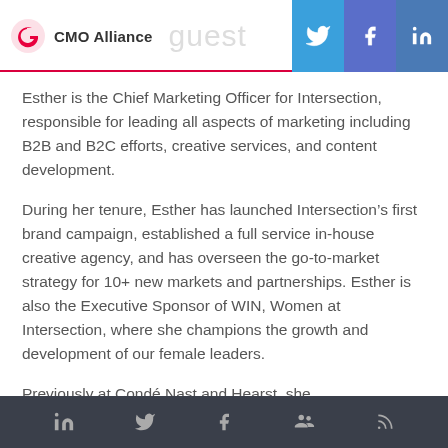CMO Alliance  guest
Esther is the Chief Marketing Officer for Intersection, responsible for leading all aspects of marketing including B2B and B2C efforts, creative services, and content development.
During her tenure, Esther has launched Intersection’s first brand campaign, established a full service in-house creative agency, and has overseen the go-to-market strategy for 10+ new markets and partnerships. Esther is also the Executive Sponsor of WIN, Women at Intersection, where she champions the growth and development of our female leaders.
Previously at Condé Nast and Hearst, she
LinkedIn  Twitter  Facebook  Community  RSS